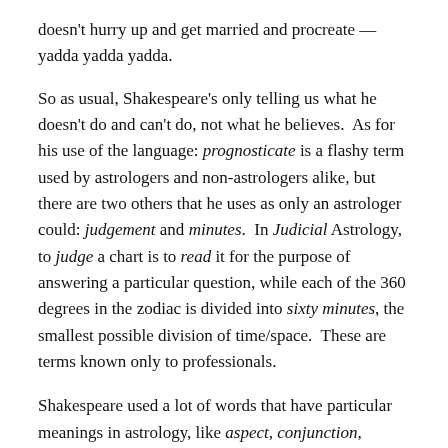doesn't hurry up and get married and procreate — yadda yadda yadda.
So as usual, Shakespeare's only telling us what he doesn't do and can't do, not what he believes. As for his use of the language: prognosticate is a flashy term used by astrologers and non-astrologers alike, but there are two others that he uses as only an astrologer could: judgement and minutes. In Judicial Astrology, to judge a chart is to read it for the purpose of answering a particular question, while each of the 360 degrees in the zodiac is divided into sixty minutes, the smallest possible division of time/space. These are terms known only to professionals.
Shakespeare used a lot of words that have particular meanings in astrology, like aspect, conjunction, constellation, eclipse, mean, meridian, mundane, orb, retrograde and zenith. Mostly he used them in the